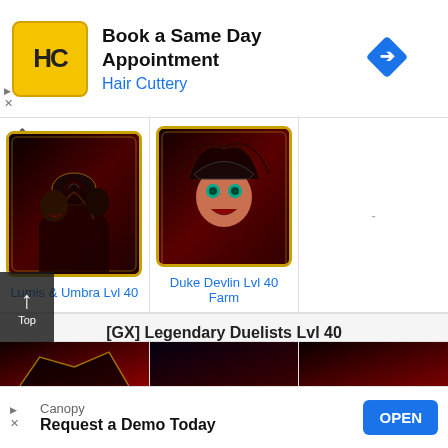[Figure (screenshot): Hair Cuttery advertisement banner: yellow HC logo, text 'Book a Same Day Appointment', 'Hair Cuttery' in blue, blue navigation arrow diamond icon on right]
[Figure (screenshot): Yu-Gi-Oh Duel Links game page showing two character cards: Lumis & Umbra Lvl 40 (dark villains) and Duke Devlin Lvl 40 Farm with anime-style character portraits on dark red card frames]
Lumis & Umbra Lvl 40
Duke Devlin Lvl 40 Farm
[GX] Legendary Duelists Lvl 40
[Figure (screenshot): Jaden Yuki character card - anime boy with brown spiky hair]
Jaden Yuki
[Figure (screenshot): Zane Truesdale character card - anime character with dark blue hair]
Zane Truesdale
[Figure (screenshot): Aster Phoenix character card - anime character with grey hair]
Aster Phoenix
[Figure (screenshot): Canopy advertisement banner: 'Request a Demo Today' with OPEN button]